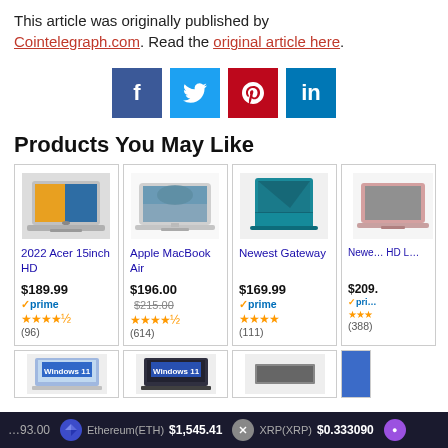This article was originally published by Cointelegraph.com. Read the original article here.
[Figure (infographic): Social media share buttons: Facebook (blue), Twitter (light blue), Pinterest (red), LinkedIn (teal)]
Products You May Like
[Figure (infographic): Product card: 2022 Acer 15inch HD laptop image, price $189.99, Prime badge, 4.5 stars, (96) reviews]
[Figure (infographic): Product card: Apple MacBook Air laptop image, price $196.00 was $215.00, 4.5 stars, (614) reviews]
[Figure (infographic): Product card: Newest Gateway laptop image, price $169.99, Prime badge, 4 stars, (111) reviews]
[Figure (infographic): Product card: Newest HD L... laptop image (partially cut off), price $209.xx, Prime badge, stars and (388) reviews]
[Figure (infographic): Second row product cards partially visible: two laptops and one device]
Ethereum(ETH) $1,545.41   XRP(XRP) $0.333090